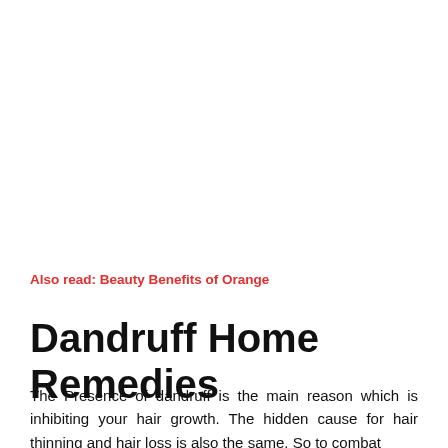Also read: Beauty Benefits of Orange
Dandruff Home Remedies
The Presence of dandruff is the main reason which is inhibiting your hair growth. The hidden cause for hair thinning and hair loss is also the same. So to combat